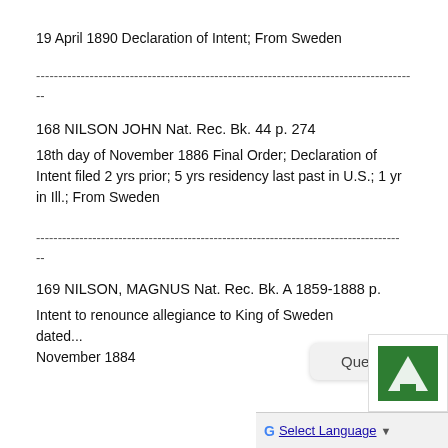19 April 1890 Declaration of Intent; From Sweden
------------------------------------------------------------------------------------
--
168 NILSON JOHN Nat. Rec. Bk. 44 p. 274
18th day of November 1886 Final Order; Declaration of Intent filed 2 yrs prior; 5 yrs residency last past in U.S.; 1 yr in Ill.; From Sweden
------------------------------------------------------------------------------------
--
169 NILSON, MAGNUS Nat. Rec. Bk. A 1859-1888 p.
Intent to renounce allegiance to King of Sweden dated...
November 1884